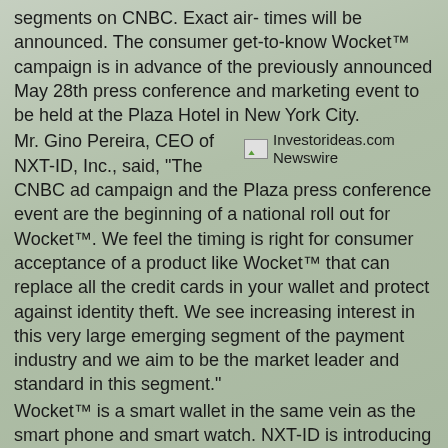segments on CNBC. Exact air- times will be announced. The consumer get-to-know Wocket™ campaign is in advance of the previously announced May 28th press conference and marketing event to be held at the Plaza Hotel in New York City.
[Figure (logo): Investorideas.com Newswire logo/image placeholder]
Mr. Gino Pereira, CEO of NXT-ID, Inc., said, "The CNBC ad campaign and the Plaza press conference event are the beginning of a national roll out for Wocket™. We feel the timing is right for consumer acceptance of a product like Wocket™ that can replace all the credit cards in your wallet and protect against identity theft. We see increasing interest in this very large emerging segment of the payment industry and we aim to be the market leader and standard in this segment."
Wocket™ is a smart wallet in the same vein as the smart phone and smart watch. NXT-ID is introducing its innovative, patent-pending Wocket™ as the next natural step in the evolution of smart devices. Wocket™ is a next generation smart wallet designed to protect your identity and replace all the cards in your wallet, with no smart phone required. The Wocket works anywhere credit cards are accepted and only